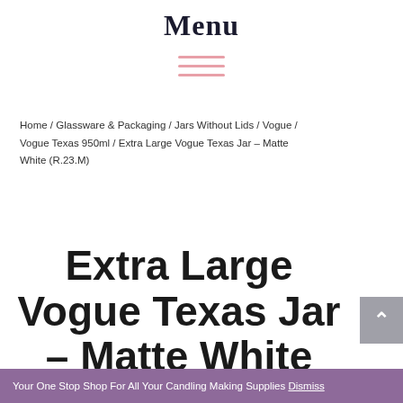Menu
[Figure (illustration): Hamburger menu icon made of three horizontal pink/salmon colored lines]
Home / Glassware & Packaging / Jars Without Lids / Vogue / Vogue Texas 950ml / Extra Large Vogue Texas Jar – Matte White (R.23.M)
Extra Large Vogue Texas Jar – Matte White (R.23.M)
Your One Stop Shop For All Your Candling Making Supplies Dismiss